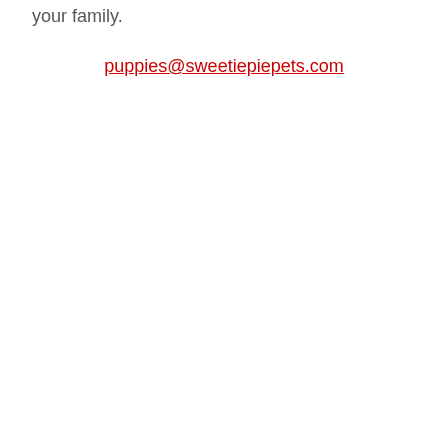your family.
puppies@sweetiepiepets.com